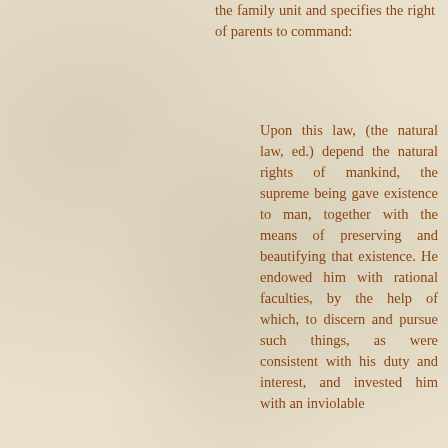the family unit and specifies the right of parents to command:
Upon this law, (the natural law, ed.) depend the natural rights of mankind, the supreme being gave existence to man, together with the means of preserving and beautifying that existence. He endowed him with rational faculties, by the help of which, to discern and pursue such things, as were consistent with his duty and interest, and invested him with an inviolable